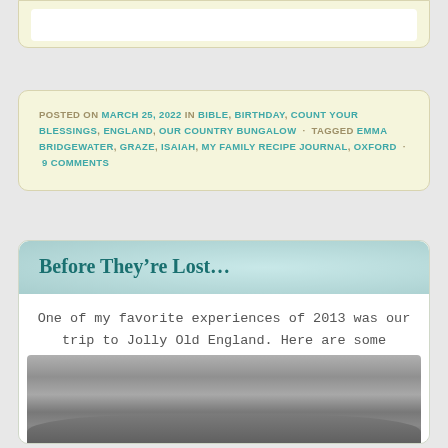POSTED ON MARCH 25, 2022 IN BIBLE, BIRTHDAY, COUNT YOUR BLESSINGS, ENGLAND, OUR COUNTRY BUNGALOW · TAGGED EMMA BRIDGEWATER, GRAZE, ISAIAH, MY FAMILY RECIPE JOURNAL, OXFORD · 9 COMMENTS
Before They're Lost...
One of my favorite experiences of 2013 was our trip to Jolly Old England. Here are some photos that our son and daughter in law took that I've just downloaded. I'm tying up some loose ends before I move full bore ahead into 2014!
[Figure (photo): Partial view of what appears to be a car or vehicle roof, gray toned photograph]